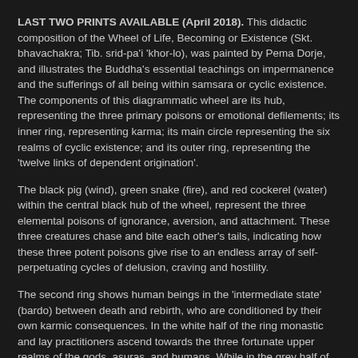LAST TWO PRINTS AVAILABLE (April 2018). This didactic composition of the Wheel of Life, Becoming or Existence (Skt. bhavachakra; Tib. srid-pa'i 'khor-lo), was painted by Pema Dorje, and illustrates the Buddha's essential teachings on impermanence and the sufferings of all being within samsara or cyclic existence. The components of this diagrammatic wheel are its hub, representing the three primary poisons or emotional defilements; its inner ring, representing karma; its main circle representing the six realms of cyclic existence; and its outer ring, representing the 'twelve links of dependent origination'.
The black pig (wind), green snake (fire), and red cockerel (water) within the central black hub of the wheel, represent the three elemental poisons of ignorance, aversion, and attachment. These three creatures chase and bite each other's tails, indicating how these three potent poisons give rise to an endless array of self-perpetuating cycles of delusion, craving and hostility.
The second ring shows human beings in the 'intermediate state' (bardo) between death and rebirth, who are conditioned by their own karmic consequences. In the white half of the ring monastic and lay practitioners ascend towards the three fortunate upper realms of the gods, asuras, and humans. While in the grey half of the ring naked and bound humans are dragged by fierce red demons towards the three miserable lower realms of the animals, hungry ghosts, and hell denizens.
The environments and sufferings of the six realms are graphically